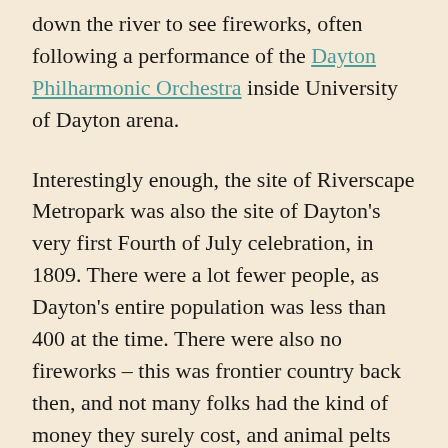down the river to see fireworks, often following a performance of the Dayton Philharmonic Orchestra inside University of Dayton arena.
Interestingly enough, the site of Riverscape Metropark was also the site of Dayton's very first Fourth of July celebration, in 1809. There were a lot fewer people, as Dayton's entire population was less than 400 at the time. There were also no fireworks – this was frontier country back then, and not many folks had the kind of money they surely cost, and animal pelts were the more common frontier currency. Instead, people sang songs, paraded around town, listened to speeches, and held artillery salutes. After a dinner hosted by one of the townspeople (cost: $ .50/person), there were wrestling matches, shooting competitions and horse racing, followed by dancing.
I've been to the Riverscape celebration before, but for